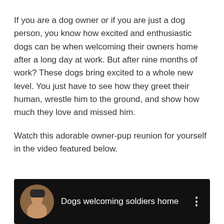If you are a dog owner or if you are just a dog person, you know how excited and enthusiastic dogs can be when welcoming their owners home after a long day at work. But after nine months of work? These dogs bring excited to a whole new level. You just have to see how they greet their human, wrestle him to the ground, and show how much they love and missed him.

Watch this adorable owner-pup reunion for yourself in the video featured below.
[Figure (screenshot): Video thumbnail showing a dark background with a circular profile photo of a person on the left and the text 'Dogs welcoming soldiers home' in white, with a vertical three-dot menu icon on the right.]